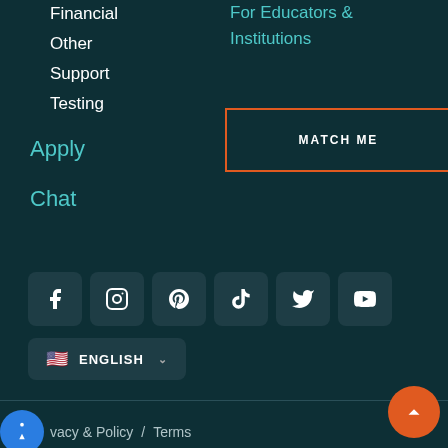Financial
Other
Support
Testing
Apply
Chat
For Educators & Institutions
[Figure (other): MATCH ME button with orange border]
[Figure (other): Social media icons row: Facebook, Instagram, Pinterest, TikTok, Twitter, YouTube]
[Figure (other): Language selector showing US flag and ENGLISH text with dropdown arrow]
vacy & Policy  /  Terms